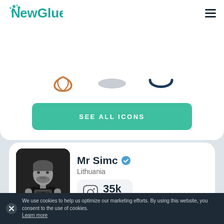[Figure (logo): NewGlue logo with teal/green color and dot-particle styling on the N]
[Figure (illustration): Three icons in a row: orange/brown lotus/leaf icon, grey oval/ellipse icon, dark navy smile/arc icon]
SEE ALL ICONS
[Figure (photo): Black and white photo of a man holding a camera, taking a selfie in a mirror]
Mr Simc
Lithuania
35k followers
We use cookies to help us optimize our marketing efforts. By using this website, you consent to the use of cookies. Learn more